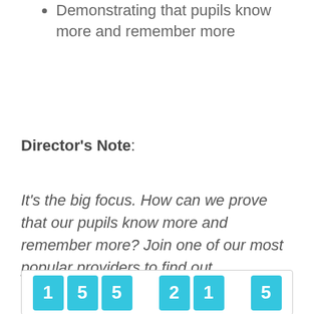Demonstrating that pupils know more and remember more
Director's Note:
It's the big focus.  How can we prove that our pupils know more and remember more?  Join one of our most popular providers to find out.
[Figure (infographic): Infographic box showing numbers 1, 5, 5, 2, 1, 5 in cyan/teal colored tiles]